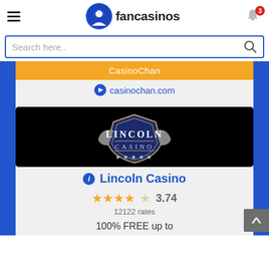fancasinos
[Figure (screenshot): Fancasinos website header with hamburger menu, logo (blue circle with figure), 'fancasinos' text, and notification bell with badge showing 3]
Search here..
CasinoChan
casinochan.com
[Figure (logo): Lincoln Casino logo on black background — shield emblem with 'LINCOLN CASINO' text, decorative lions and stars]
Lincoln Casino
3.74
12122 rates
100% FREE up to